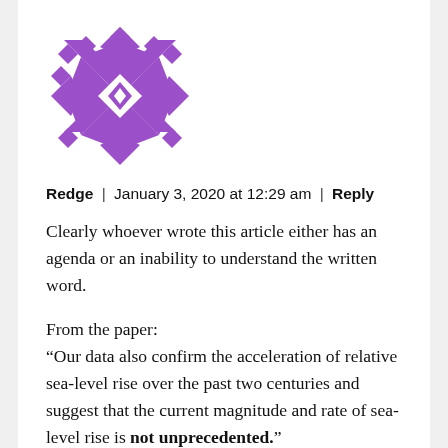[Figure (illustration): Purple geometric/diamond pattern avatar icon]
Redge | January 3, 2020 at 12:29 am | Reply
Clearly whoever wrote this article either has an agenda or an inability to understand the written word.
From the paper:
“Our data also confirm the acceleration of relative sea-level rise over the past two centuries and suggest that the current magnitude and rate of sea-level rise is not unprecedented.”
Furthermore, the paper tells us the rate of sea-level rise was higher than now: